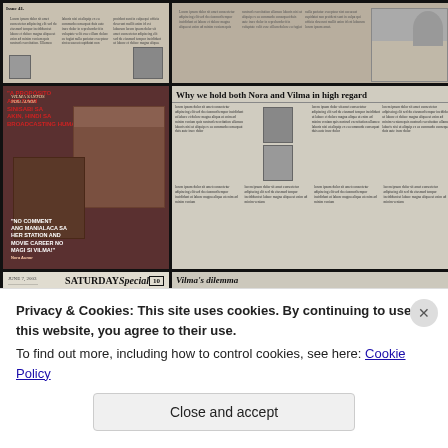[Figure (photo): Collage of newspaper clippings about Filipino cinema stars Nora and Vilma, including articles, photos, and headlines. Top-left: old newspaper clippings with columns of text and small photos. Top-right: newspaper page with article and photos of two women. Middle-left: red-background magazine spread with photos of actresses and Filipino-language headlines. Middle-right: newspaper article headlined 'Why we hold both Nora and Vilma in high regard' with portrait photos and multiple columns of text. Bottom-left: Saturday Special newspaper section headlined 'Pinoy cinema's Justice League'. Bottom-right: newspaper clipping headlined 'Vilma's dilemma'.]
Privacy & Cookies: This site uses cookies. By continuing to use this website, you agree to their use.
To find out more, including how to control cookies, see here: Cookie Policy
Close and accept